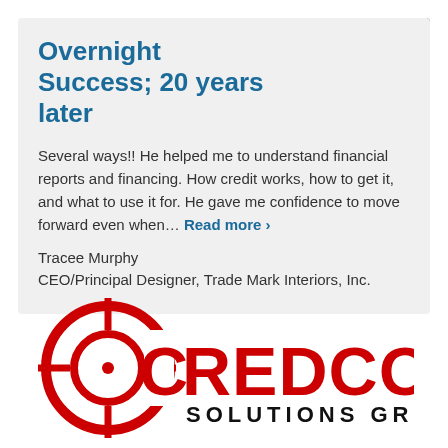Success Story
Overnight Success; 20 years later
Several ways!! He helped me to understand financial reports and financing. How credit works, how to get it, and what to use it for. He gave me confidence to move forward even when… Read more ›
Tracee Murphy
CEO/Principal Designer, Trade Mark Interiors, Inc.
[Figure (logo): CREDCON Solutions Group logo — red target/crosshair icon to the left of bold red text reading CREDCON with SOLUTIONS GROUP below in black]